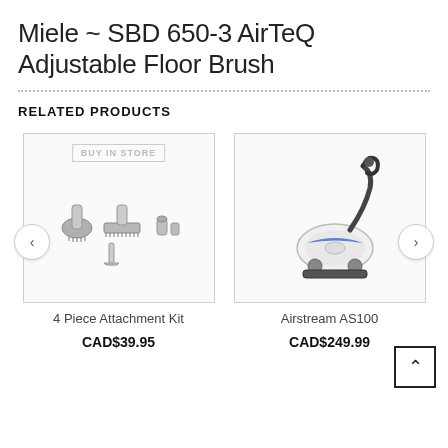Miele ~ SBD 650-3 AirTeQ Adjustable Floor Brush
RELATED PRODUCTS
[Figure (photo): 4 Piece Attachment Kit for vacuum cleaner - multiple attachments shown: round brush, flat brush, straight crevice tool, and small adapters. 'BUY IN STORE' badge overlay.]
4 Piece Attachment Kit
CAD$39.95
[Figure (photo): Airstream AS100 canister vacuum cleaner in white and blue with black hose and handle.]
Airstream AS100
CAD$249.99